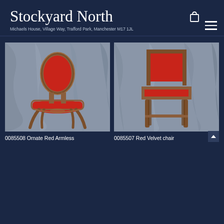Stockyard North
Michaels House, Village Way, Trafford Park, Manchester M17 1JL
[Figure (photo): Ornate red armless chair with carved wooden frame against grey draped background]
0085508 Ornate Red Armless
[Figure (photo): Red velvet chair with wooden legs and cross-bar stretcher against grey draped background]
0085507 Red Velvet chair